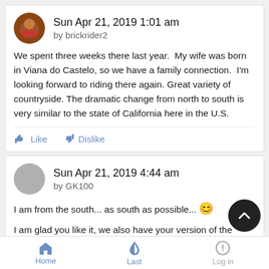Sun Apr 21, 2019 1:01 am
by brickrider2
We spent three weeks there last year.  My wife was born in Viana do Castelo, so we have a family connection.  I'm looking forward to riding there again. Great variety of countryside. The dramatic change from north to south is very similar to the state of California here in the U.S.
Like   Dislike
Sun Apr 21, 2019 4:44 am
by GK100
I am from the south... as south as possible... 😀
I am glad you like it, we also have your version of the route the N2 (nacional 2)... but small of course!!
Home   Last   Log in